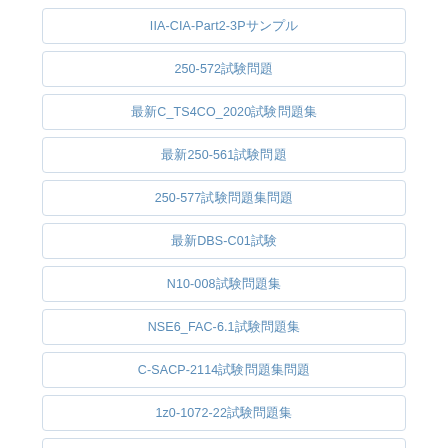IIA-CIA-Part2-3P試験問題
250-572試験問題
最新C_TS4CO_2020試験問題集
最新250-561試験問題
250-577試験問題集問題
最新DBS-C01試験
N10-008試験問題集
NSE6_FAC-6.1試験問題集
C-SACP-2114試験問題集問題
1z0-1072-22試験問題集
NCA-5.20試験問題